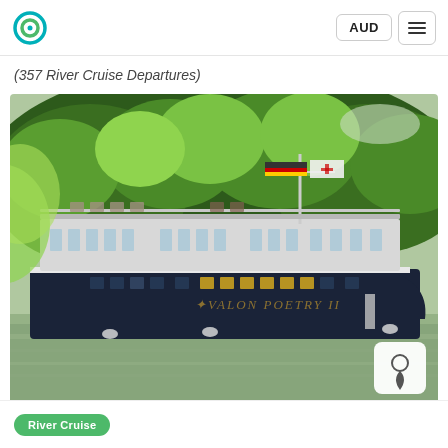AUD  ☰
(357 River Cruise Departures)
[Figure (photo): River cruise ship named 'Avalon Poetry II' on a river with forested hills in the background. The ship flies a German flag. A map pin icon button is visible in the lower right corner of the photo.]
River Cruise